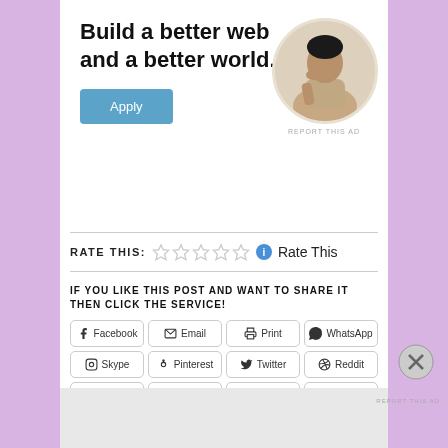[Figure (screenshot): Advertisement banner: 'Build a better web and a better world.' with Apply button and circular photo of a man thinking at desk]
REPORT THIS AD
RATE THIS: ☆☆☆☆☆ ℹ Rate This
IF YOU LIKE THIS POST AND WANT TO SHARE IT THEN CLICK THE SERVICE!
Facebook
Email
Print
WhatsApp
Skype
Pinterest
Twitter
Reddit
LinkedIn
Tumblr
Telegram
Pocket
Advertisements